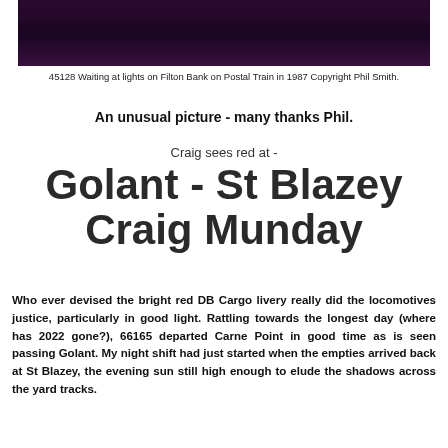[Figure (photo): Dark purple/dark photo of a train at Filton Bank, mostly dark tones with a slight gradient]
45128 Waiting at lights on Filton Bank on Postal Train in 1987 Copyright Phil Smith.
An unusual picture - many thanks Phil.
Craig sees red at -
Golant - St Blazey
Craig Munday
Who ever devised the bright red DB Cargo livery really did the locomotives justice, particularly in good light. Rattling towards the longest day (where has 2022 gone?), 66165 departed Carne Point in good time as is seen passing Golant. My night shift had just started when the empties arrived back at St Blazey, the evening sun still high enough to elude the shadows across the yard tracks.